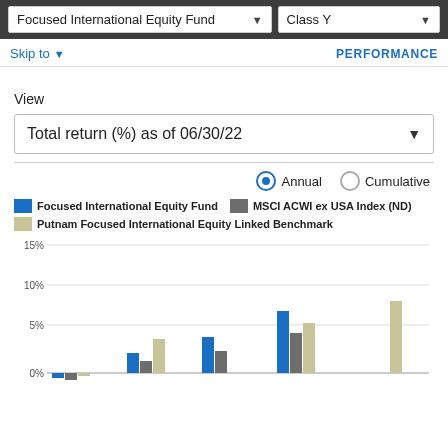Focused International Equity Fund | Class Y
Skip to  PERFORMANCE
View
Total return (%) as of 06/30/22
Annual  Cumulative
[Figure (grouped-bar-chart): Total return (%) as of 06/30/22]